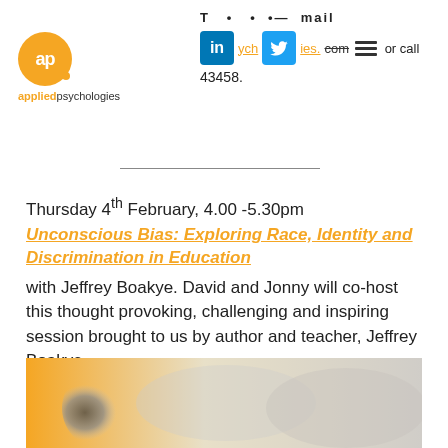[Figure (logo): Applied Psychologies logo: orange circle with 'ap' text, orange dot, text 'appliedpsychologies' below]
mail id...ych...ies.com or call 43458.
Thursday 4th February, 4.00 -5.30pm
Unconscious Bias: Exploring Race, Identity and Discrimination in Education with Jeffrey Boakye. David and Jonny will co-host this thought provoking, challenging and inspiring session brought to us by author and teacher, Jeffrey Boakye.
[Figure (photo): Partially visible photo with orange and grey tones, appears to be a person image blurred]